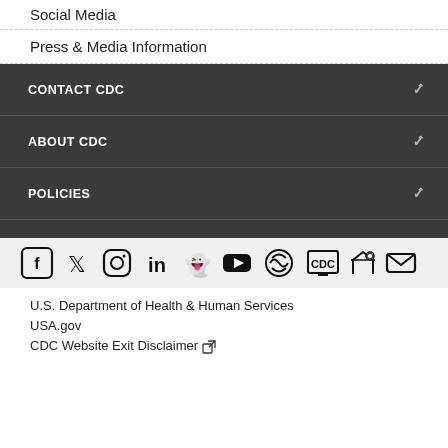Social Media
Press & Media Information
CONTACT CDC
ABOUT CDC
POLICIES
[Figure (other): Social media icons bar: Facebook, Twitter, Instagram, LinkedIn, Snapchat, YouTube, CDC TV, CDC icon, RSS, Email]
U.S. Department of Health & Human Services
USA.gov
CDC Website Exit Disclaimer [external link icon]